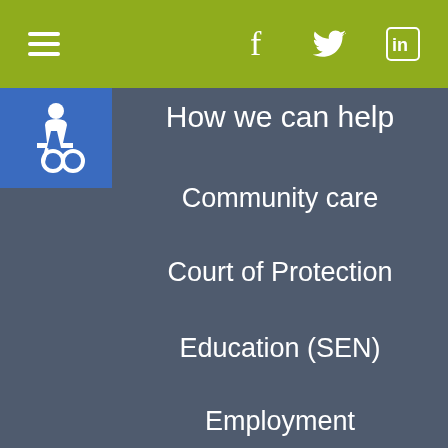Navigation bar with hamburger menu and social icons (Facebook, Twitter, LinkedIn)
[Figure (illustration): Wheelchair accessibility icon in blue square]
How we can help
Community care
Court of Protection
Education (SEN)
Employment
We use cookies on our website to give you the most relevant experience by remembering your preferences and repeat visits.
By clicking “Accept”, you consent to the use of the cookies as per our cookies policy.
Cookie settings
ACCEPT